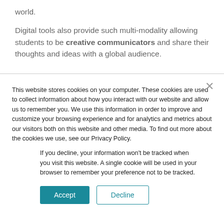world.
Digital tools also provide such multi-modality allowing students to be creative communicators and share their thoughts and ideas with a global audience.
This website stores cookies on your computer. These cookies are used to collect information about how you interact with our website and allow us to remember you. We use this information in order to improve and customize your browsing experience and for analytics and metrics about our visitors both on this website and other media. To find out more about the cookies we use, see our Privacy Policy.
If you decline, your information won't be tracked when you visit this website. A single cookie will be used in your browser to remember your preference not to be tracked.